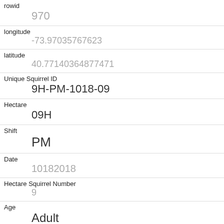| Field | Value |
| --- | --- |
| rowid | 970 |
| longitude | -73.97035767623 |
| latitude | 40.77140364877471 |
| Unique Squirrel ID | 9H-PM-1018-09 |
| Hectare | 09H |
| Shift | PM |
| Date | 10182018 |
| Hectare Squirrel Number | 9 |
| Age | Adult |
| Primary Fur Color | Gray |
| Highlight Fur Color |  |